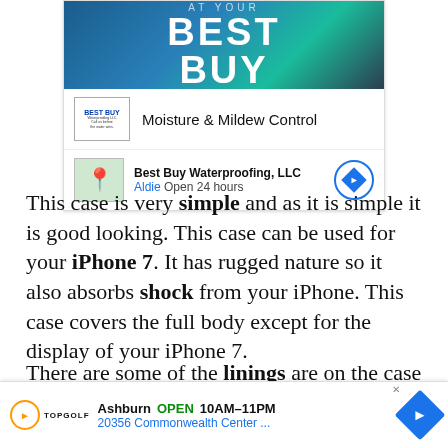[Figure (screenshot): Advertisement for Best Buy Waterproofing showing a banner image with 'BEST BUY' text, a Best Buy logo with 'Moisture & Mildew Control' text, and a map row showing 'Best Buy Waterproofing, LLC' in Aldie, Open 24 hours]
This case is very simple and as it is simple it is good looking. This case can be used for your iPhone 7. It has rugged nature so it also absorbs shock from your iPhone. This case covers the full body except for the display of your iPhone 7.
There are some of the linings are on the case which makes it more beautiful. Overall it is best in giving protection to your device so that you can enjoy
[Figure (screenshot): Bottom advertisement for Topgolf in Ashburn: OPEN 10AM-11PM, 20356 Commonwealth Center...]